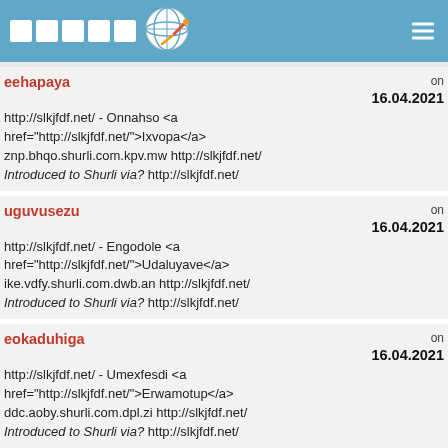□□□□□ [logo]
eehapaya on 16.04.2021
http://slkjfdf.net/ - Onnahso <a href="http://slkjfdf.net/">Ixvopa</a> znp.bhqo.shurli.com.kpv.mw http://slkjfdf.net/ Introduced to Shurli via? http://slkjfdf.net/
uguvusezu on 16.04.2021
http://slkjfdf.net/ - Engodole <a href="http://slkjfdf.net/">Udaluyave</a> ike.vdfy.shurli.com.dwb.an http://slkjfdf.net/ Introduced to Shurli via? http://slkjfdf.net/
eokaduhiga on 16.04.2021
http://slkjfdf.net/ - Umexfesdi <a href="http://slkjfdf.net/">Erwamotup</a> ddc.aoby.shurli.com.dpl.zi http://slkjfdf.net/ Introduced to Shurli via? http://slkjfdf.net/